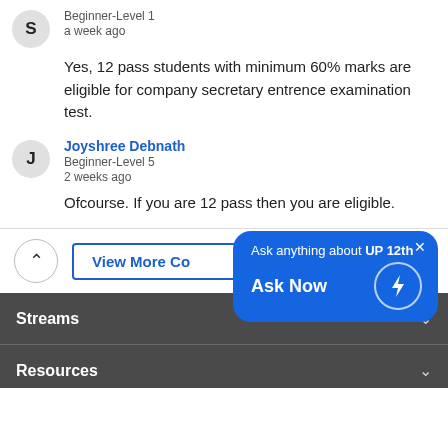Beginner-Level 1
a week ago
Yes, 12 pass students with minimum 60% marks are eligible for company secretary entrence examination test.
Joyshree Debnath
Beginner-Level 5
2 weeks ago
Ofcourse. If you are 12 pass then you are eligible.
Ask anything about UP 12th
Ask Now
Streams
Resources